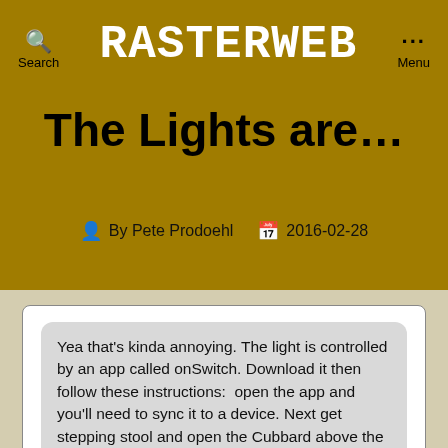RASTERWEB
The Lights are...
By Pete Prodoehl   2016-02-28
Yea that's kinda annoying. The light is controlled by an app called onSwitch. Download it then follow these instructions:  open the app and you'll need to sync it to a device. Next get stepping stool and open the Cubbard above the coat hooks in hallway you'll see a